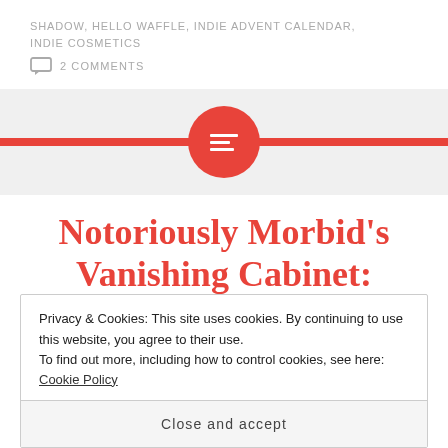SHADOW, HELLO WAFFLE, INDIE ADVENT CALENDAR, INDIE COSMETICS
2 COMMENTS
[Figure (other): Red horizontal navigation bar with centered red circle containing a white lines/menu icon]
Notoriously Morbid's Vanishing Cabinet: December 2014
Privacy & Cookies: This site uses cookies. By continuing to use this website, you agree to their use.
To find out more, including how to control cookies, see here: Cookie Policy
Close and accept
I think the best part of the holidays is a lot of my